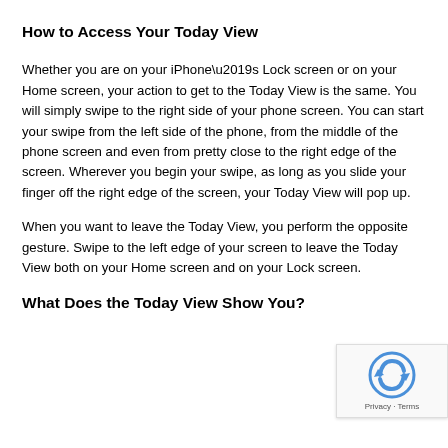How to Access Your Today View
Whether you are on your iPhone’s Lock screen or on your Home screen, your action to get to the Today View is the same. You will simply swipe to the right side of your phone screen. You can start your swipe from the left side of the phone, from the middle of the phone screen and even from pretty close to the right edge of the screen. Wherever you begin your swipe, as long as you slide your finger off the right edge of the screen, your Today View will pop up.
When you want to leave the Today View, you perform the opposite gesture. Swipe to the left edge of your screen to leave the Today View both on your Home screen and on your Lock screen.
[Figure (logo): reCAPTCHA badge with Google reCAPTCHA logo and Privacy - Terms text]
What Does the Today View Show You?